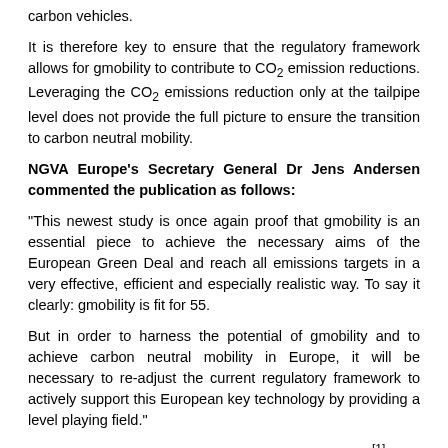carbon vehicles.
It is therefore key to ensure that the regulatory framework allows for gmobility to contribute to CO₂ emission reductions. Leveraging the CO₂ emissions reduction only at the tailpipe level does not provide the full picture to ensure the transition to carbon neutral mobility.
NGVA Europe's Secretary General Dr Jens Andersen commented the publication as follows:
“This newest study is once again proof that gmobility is an essential piece to achieve the necessary aims of the European Green Deal and reach all emissions targets in a very effective, efficient and especially realistic way. To say it clearly: gmobility is fit for 55.
But in order to harness the potential of gmobility and to achieve carbon neutral mobility in Europe, it will be necessary to re-adjust the current regulatory framework to actively support this European key technology by providing a level playing field.”
The full study can be downloaded as pdf here [1].
It will be presented and discussed at the NGVA